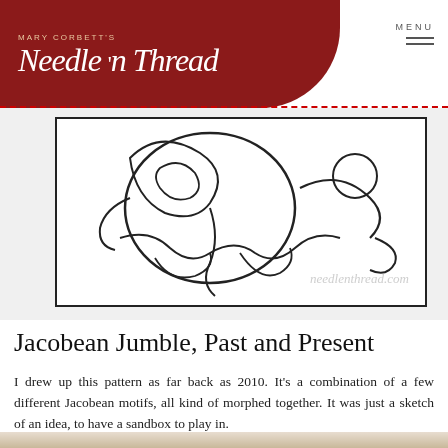Mary Corbett's Needle 'n Thread — MENU
[Figure (illustration): Black and white line drawing embroidery pattern showing Jacobean-style floral motifs including scrolling leaves, a circle, and organic shapes, with 'needlenthread.com' watermark in lower right]
Jacobean Jumble, Past and Present
I drew up this pattern as far back as 2010. It's a combination of a few different Jacobean motifs, all kind of morphed together. It was just a sketch of an idea, to have a sandbox to play in.
[Figure (photo): Close-up photo of embroidery work in progress on white fabric, showing a red satin-stitched crescent/leaf shape and a gold/olive curved stem with French knots or beading, on a linen background with light pencil sketch lines visible]